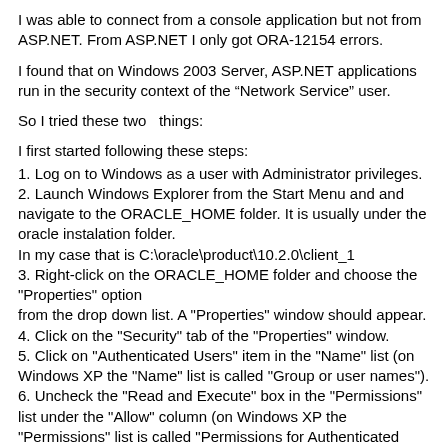I was able to connect from a console application but not from ASP.NET. From ASP.NET I only got ORA-12154 errors.
I found that on Windows 2003 Server, ASP.NET applications run in the security context of the “Network Service” user.
So I tried these two  things:
I first started following these steps:
1. Log on to Windows as a user with Administrator privileges.
2. Launch Windows Explorer from the Start Menu and and navigate to the ORACLE_HOME folder. It is usually under the oracle instalation folder. In my case that is C:\oracle\product\10.2.0\client_1
3. Right-click on the ORACLE_HOME folder and choose the "Properties" option from the drop down list. A "Properties" window should appear.
4. Click on the "Security" tab of the "Properties" window.
5. Click on "Authenticated Users" item in the "Name" list (on Windows XP the "Name" list is called "Group or user names").
6. Uncheck the "Read and Execute" box in the "Permissions" list under the "Allow" column (on Windows XP the "Permissions" list is called "Permissions for Authenticated Users").